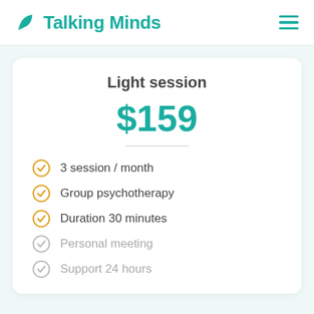Talking Minds
Light session
$159
3 session / month
Group psychotherapy
Duration 30 minutes
Personal meeting
Support 24 hours